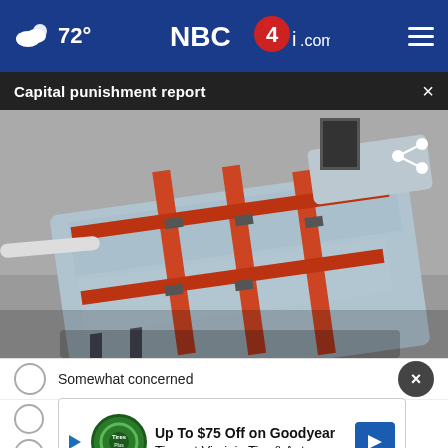72° NBC4i.com
Capital punishment report
[Figure (photo): Photo of an execution table/gurney with blue padding and orange restraint straps, in an execution chamber]
Somewhat concerned
[Figure (infographic): Advertisement: Up To $75 Off on Goodyear Tires at Virginia Tire & Auto]